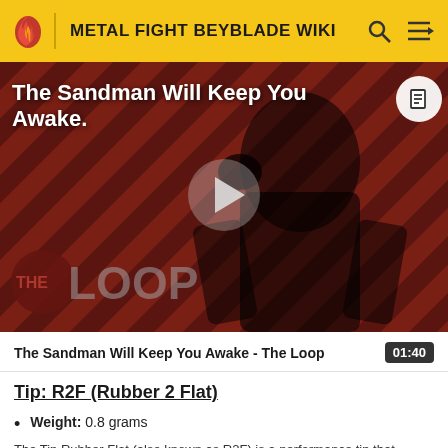METAL FIGHT BEYBLADE WIKI
[Figure (screenshot): Video thumbnail for 'The Sandman Will Keep You Awake - The Loop' showing a dark-cloaked figure against a red diagonal-striped background with THE LOOP logo overlay and a play button in the center.]
The Sandman Will Keep You Awake - The Loop  01:40
Tip: R2F (Rubber 2 Flat)
Weight: 0.8 grams
The Tip Rubber Flat (also known as R2F) is a performance tip that...